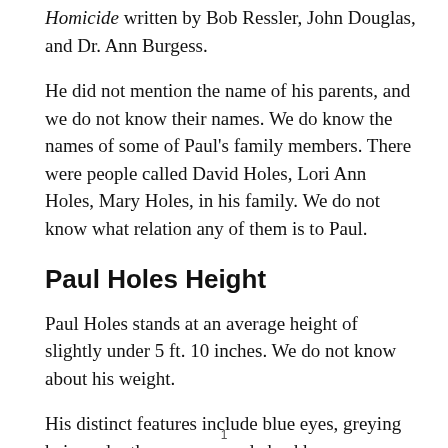Homicide written by Bob Ressler, John Douglas, and Dr. Ann Burgess.
He did not mention the name of his parents, and we do not know their names. We do know the names of some of Paul's family members. There were people called David Holes, Lori Ann Holes, Mary Holes, in his family. We do not know what relation any of them is to Paul.
Paul Holes Height
Paul Holes stands at an average height of slightly under 5 ft. 10 inches. We do not know about his weight.
His distinct features include blue eyes, greying hair, and rather pronounced cheekbones.
1